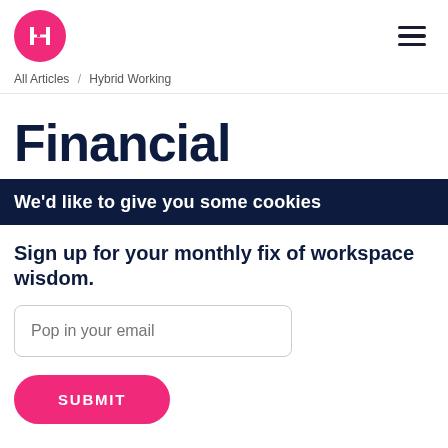[Figure (logo): Pink circular logo with white H letter mark]
All Articles / Hybrid Working
Financial
We'd like to give you some cookies
Sign up for your monthly fix of workspace wisdom.
Pop in your email
SUBMIT